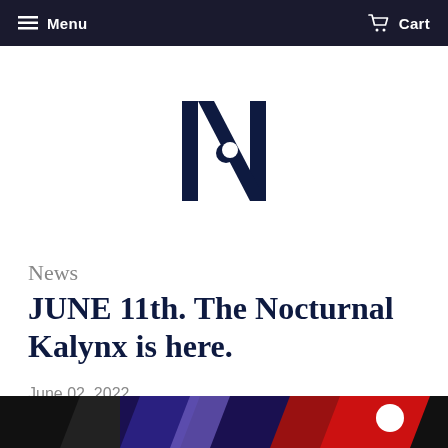Menu   Cart
[Figure (logo): Navy blue stylized letter N with a crescent moon cutout, forming a geometric logo]
News
JUNE 11th. The Nocturnal Kalynx is here.
June 02, 2022
[Figure (photo): Partial view of colorful merchandise or clothing items with black, red, blue and white colors visible, cropped at bottom of page]